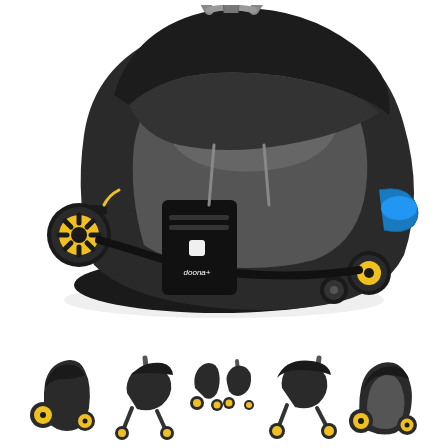[Figure (photo): Doona+ infant car seat and stroller in one, shown in urban/gray color with yellow wheels, viewed from a 3/4 angle showing the handle, canopy, and fold-out wheels underneath]
[Figure (photo): Row of 5 thumbnail images showing the Doona+ in different configurations: as car seat with yellow wheels, as stroller from side, folded small, as stroller side view with canopy extended, and as car seat close-up]